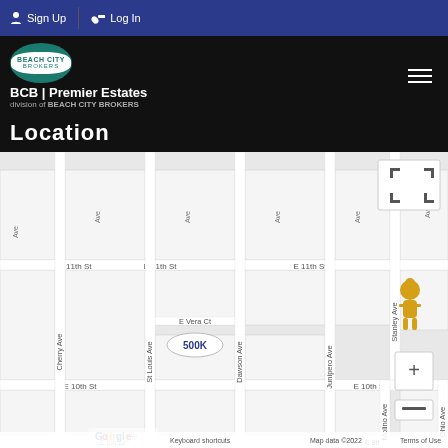Sign Up | Log In
[Figure (logo): Beach City Brokers logo with BCB Premier Estates branding]
Location
[Figure (map): Google Maps street map showing location near E 10th St, E 11th St, Cherry Ave, St Louis Ave, Dawson Ave, Junipero Ave, Stanley Ave, Molino Ave, Ohio Ave in Long Beach CA. Property marked with 500K label near E Vera Ct.]